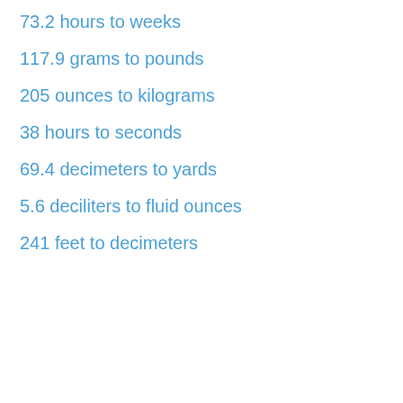73.2 hours to weeks
117.9 grams to pounds
205 ounces to kilograms
38 hours to seconds
69.4 decimeters to yards
5.6 deciliters to fluid ounces
241 feet to decimeters